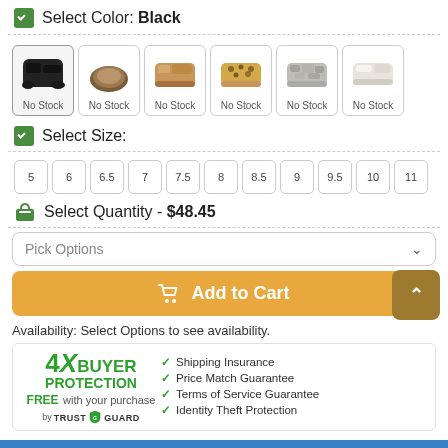Select Color: Black
[Figure (screenshot): Six color swatch options for sandals, all showing 'No Stock'. First swatch (black sandal) is selected/highlighted. Other swatches show brown sole, tan leather, leopard print, snake print, and white sandals.]
Select Size:
5
6
6.5
7
7.5
8
8.5
9
9.5
10
11
Select Quantity - $48.45
Pick Options
Add to Cart
Availability: Select Options to see availability.
[Figure (logo): 4X Buyer Protection FREE with your purchase by TRUST GUARD logo with green shield icon. Checkmarks listing: Shipping Insurance, Price Match Guarantee, Terms of Service Guarantee, Identity Theft Protection]